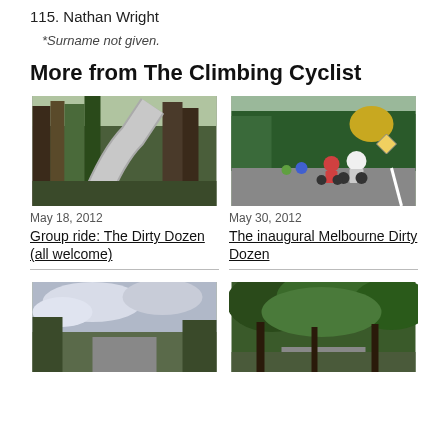115. Nathan Wright
*Surname not given.
More from The Climbing Cyclist
[Figure (photo): A winding road through tall eucalyptus forest]
May 18, 2012
Group ride: The Dirty Dozen (all welcome)
[Figure (photo): Cyclists riding on a road lined with green trees, road sign visible]
May 30, 2012
The inaugural Melbourne Dirty Dozen
[Figure (photo): Road with cloudy sky and trees in background]
[Figure (photo): Tree-lined road with dense bush canopy]